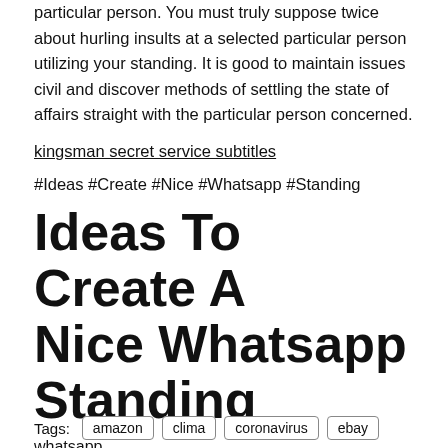particular person. You must truly suppose twice about hurling insults at a selected particular person utilizing your standing. It is good to maintain issues civil and discover methods of settling the state of affairs straight with the particular person concerned.
kingsman secret service subtitles
#Ideas #Create #Nice #Whatsapp #Standing
Ideas To Create A Nice Whatsapp Standing
whatsapp
Tags:   amazon   clima   coronavirus   ebay